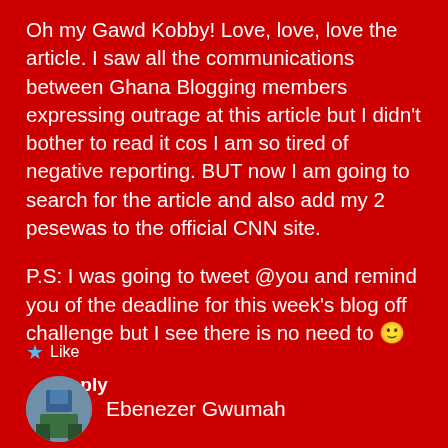Oh my Gawd Kobby! Love, love, love the article. I saw all the communications between Ghana Blogging members expressing outrage at this article but I didn't bother to read it cos I am so tired of negative reporting. BUT now I am going to search for the article and also add my 2 pesewas to the official CNN site.
P.S: I was going to tweet @you and remind you of the deadline for this week's blog off challenge but I see there is no need to 🙂
★ Like
Reply
Ebenezer Gwumah